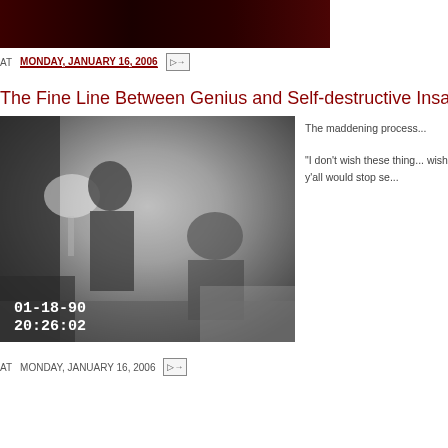[Figure (photo): Dark reddish-black banner/header image at top of blog page]
AT MONDAY, JANUARY 16, 2006
The Fine Line Between Genius and Self-destructive Insanity
[Figure (photo): Black and white surveillance or security camera still image dated 01-18-90 20:26:02 showing figures in a room with a lamp]
The maddening process...
"I don't wish these things... wish y'all would stop se..."
AT MONDAY, JANUARY 16, 2006